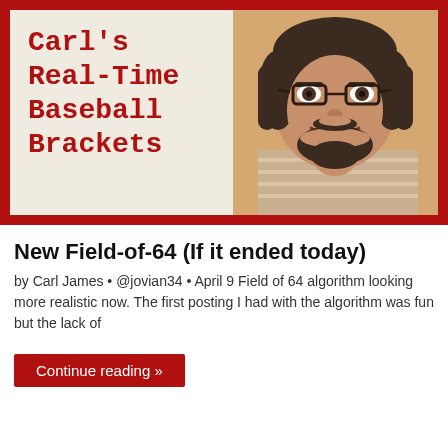[Figure (illustration): Banner graphic for Carl's Real-Time Baseball Brackets blog, showing the blog title in red monospace font on a light background, with a photo of a smiling bearded man wearing glasses on the right side, all on a red background.]
New Field-of-64 (If it ended today)
by Carl James • @jovian34 • April 9 Field of 64 algorithm looking more realistic now. The first posting I had with the algorithm was fun but the lack of
Continue reading »